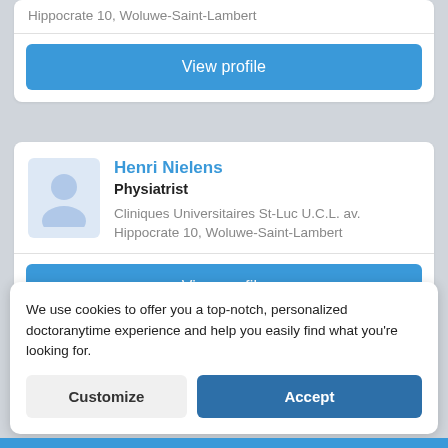Hippocrate 10, Woluwe-Saint-Lambert
[Figure (screenshot): View profile button (blue rounded rectangle)]
Henri Nielens
Physiatrist
Cliniques Universitaires St-Luc U.C.L. av. Hippocrate 10, Woluwe-Saint-Lambert
[Figure (screenshot): View profile button (blue rounded rectangle)]
We use cookies to offer you a top-notch, personalized doctoranytime experience and help you easily find what you're looking for.
Customize
Accept